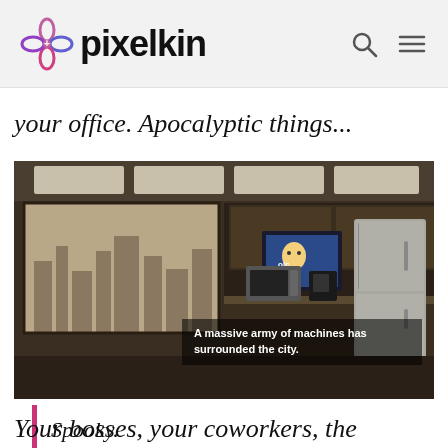pixelkin
your office. Apocalyptic things...
[Figure (photo): Screenshot from a game or video showing an office break room with kitchen appliances (refrigerator, microwave, coffee maker) and a large window showing a city skyline. A TV or monitor is on the counter. Subtitle text reads: 'A massive army of machines has surrounded the city.']
Spooky.
Your bosses, your coworkers, the